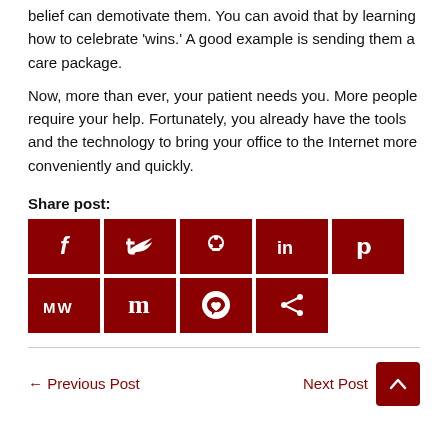belief can demotivate them. You can avoid that by learning how to celebrate 'wins.' A good example is sending them a care package.
Now, more than ever, your patient needs you. More people require your help. Fortunately, you already have the tools and the technology to bring your office to the Internet more conveniently and quickly.
Share post:
[Figure (other): Social media share buttons: Facebook, Twitter, Reddit, LinkedIn, Pinterest, MW, Mix, WhatsApp, Share]
← Previous Post
Next Post →